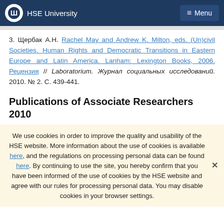HSE University  Menu
3. Щербак А.Н. Rachel May and Andrew K. Milton, eds. (Un)civil Societies. Human Rights and Democratic Transitions in Eastern Europe and Latin America. Lanham: Lexington Books, 2006. Рецензия // Laboratorium. Журнал социальных исследований. 2010. № 2. С. 439-441.
Publications of Associate Researchers 2010
We use cookies in order to improve the quality and usability of the HSE website. More information about the use of cookies is available here, and the regulations on processing personal data can be found here. By continuing to use the site, you hereby confirm that you have been informed of the use of cookies by the HSE website and agree with our rules for processing personal data. You may disable cookies in your browser settings.